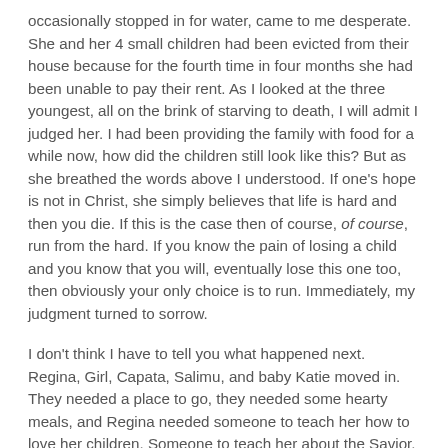occasionally stopped in for water, came to me desperate. She and her 4 small children had been evicted from their house because for the fourth time in four months she had been unable to pay their rent. As I looked at the three youngest, all on the brink of starving to death, I will admit I judged her. I had been providing the family with food for a while now, how did the children still look like this? But as she breathed the words above I understood. If one's hope is not in Christ, she simply believes that life is hard and then you die. If this is the case then of course, of course, run from the hard. If you know the pain of losing a child and you know that you will, eventually lose this one too, then obviously your only choice is to run. Immediately, my judgment turned to sorrow.
I don't think I have to tell you what happened next. Regina, Girl, Capata, Salimu, and baby Katie moved in. They needed a place to go, they needed some hearty meals, and Regina needed someone to teach her how to love her children. Someone to teach her about the Savior.
“I am entrusting you with much,” He whispered.